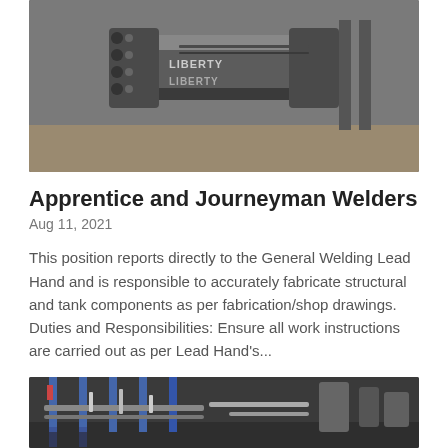[Figure (photo): Industrial machinery photo showing what appears to be a pipe fitting or valve assembly with 'LIBERTY' text visible on metal components in a workshop/factory setting.]
Apprentice and Journeyman Welders
Aug 11, 2021
This position reports directly to the General Welding Lead Hand and is responsible to accurately fabricate structural and tank components as per fabrication/shop drawings. Duties and Responsibilities: Ensure all work instructions are carried out as per Lead Hand's...
[Figure (photo): Industrial piping and equipment photo showing stainless steel pipes, tanks, and manufacturing equipment in a factory/plant setting.]